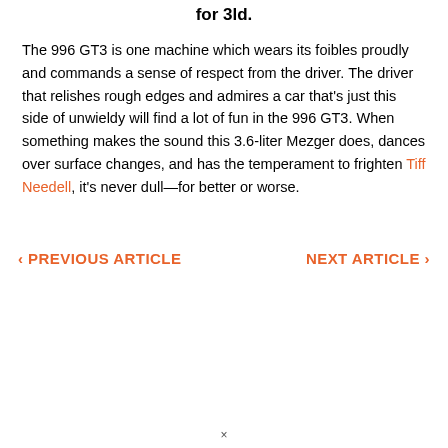for 3ld.
The 996 GT3 is one machine which wears its foibles proudly and commands a sense of respect from the driver. The driver that relishes rough edges and admires a car that's just this side of unwieldy will find a lot of fun in the 996 GT3. When something makes the sound this 3.6-liter Mezger does, dances over surface changes, and has the temperament to frighten Tiff Needell, it's never dull—for better or worse.
‹ PREVIOUS ARTICLE
NEXT ARTICLE ›
×